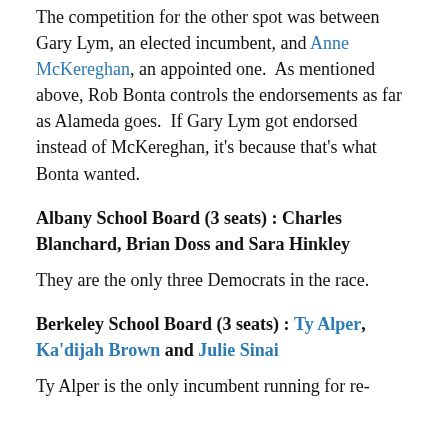The competition for the other spot was between Gary Lym, an elected incumbent, and Anne McKereghan, an appointed one.  As mentioned above, Rob Bonta controls the endorsements as far as Alameda goes.  If Gary Lym got endorsed instead of McKereghan, it's because that's what Bonta wanted.
Albany School Board (3 seats) : Charles Blanchard, Brian Doss and Sara Hinkley
They are the only three Democrats in the race.
Berkeley School Board (3 seats) : Ty Alper, Ka'dijah Brown and Julie Sinai
Ty Alper is the only incumbent running for re-